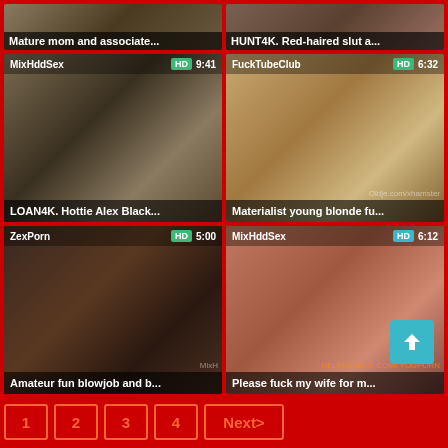[Figure (screenshot): Video thumbnail: Mature mom and associate... with timestamp overlay]
Mature mom and associate...
[Figure (screenshot): Video thumbnail: HUNT4K. Red-haired slut a...]
HUNT4K. Red-haired slut a...
[Figure (screenshot): Video thumbnail from MixHddSex, HD, 9:41 - LOAN4K. Hottie Alex Black...]
LOAN4K. Hottie Alex Black...
[Figure (screenshot): Video thumbnail from FuckTubeClub, HD, 6:32 - Materialist young blonde fu...]
Materialist young blonde fu...
[Figure (screenshot): Video thumbnail from ZexPorn, HD, 5:00 - Amateur fun blowjob and b...]
Amateur fun blowjob and b...
[Figure (screenshot): Video thumbnail from MixHddSex, HD, 6:12 - Please fuck my wife for m...]
Please fuck my wife for m...
1
2
3
4
Next>